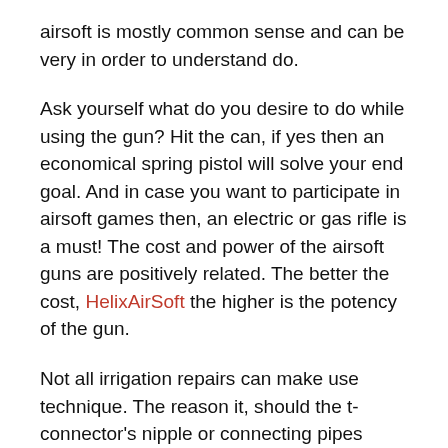airsoft is mostly common sense and can be very in order to understand do.
Ask yourself what do you desire to do while using the gun? Hit the can, if yes then an economical spring pistol will solve your end goal. And in case you want to participate in airsoft games then, an electric or gas rifle is a must! The cost and power of the airsoft guns are positively related. The better the cost, HelixAirSoft the higher is the potency of the gun.
Not all irrigation repairs can make use technique. The reason it, should the t-connector's nipple or connecting pipes crack or break, you will have to dig. But try this tip first and the firm is accredited it art. You'll know within minutes if there exists a